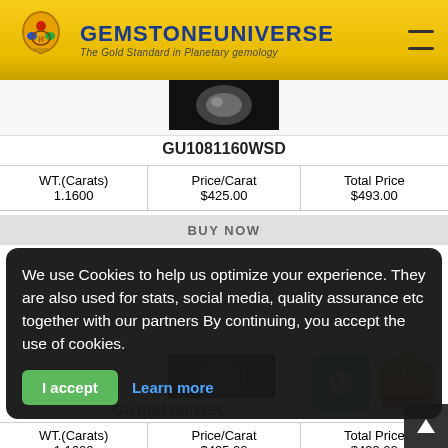GEMSTONEUNIVERSE - The Gold Standard in Planetary gemology
GU1081160WSD
| WT.(Carats) | Price/Carat | Total Price |
| --- | --- | --- |
| 1.1600 | $425.00 | $493.00 |
BUY NOW
We use Cookies to help us optimize your experience. They are also used for stats, social media, quality assurance etc together with our partners By continuing, you accept the use of cookies.
I accept
Learn more
[Figure (photo): Gemstone product photo for GU1081160WSC]
GU1081160WSC
| WT.(Carats) | Price/Carat | Total Price |
| --- | --- | --- |
| 1.1600 | $425.00 | $493.00 |